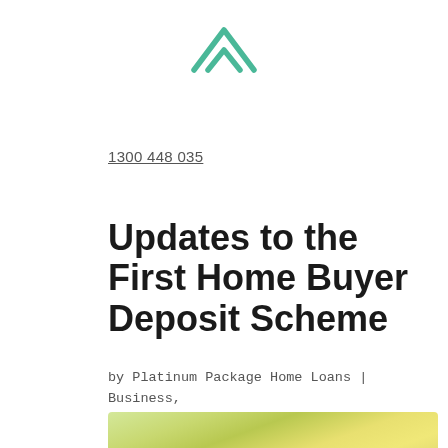[Figure (logo): Green house/roof outline logo icon at top center]
1300 448 035
Updates to the First Home Buyer Deposit Scheme
by Platinum Package Home Loans | Business, Finance, First Home Owners
[Figure (photo): Photo of a clock in front of a blurred green/yellow bokeh background, partially visible at bottom of page]